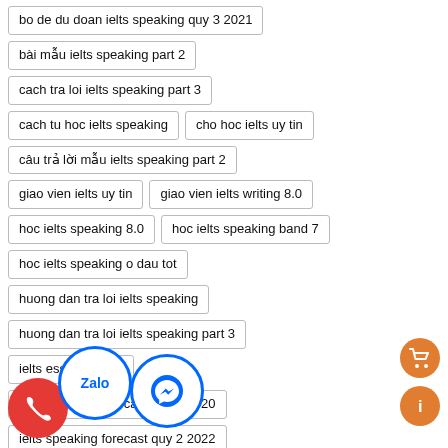bo de du doan ielts speaking quy 3 2021
bài mẫu ielts speaking part 2
cach tra loi ielts speaking part 3
cach tu hoc ielts speaking
cho hoc ielts uy tin
câu trả lời mẫu ielts speaking part 2
giao vien ielts uy tin
giao vien ielts writing 8.0
hoc ielts speaking 8.0
hoc ielts speaking band 7
hoc ielts speaking o dau tot
huong dan tra loi ielts speaking
huong dan tra loi ielts speaking part 3
ielts essay band 8
ielts speaking forecast quy 2 2020
ielts speaking forecast quy 2 2022